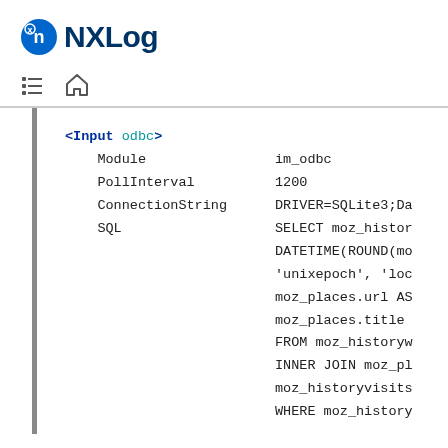NXLog
[Figure (screenshot): NXLog configuration code block showing Input odbc directive with Module im_odbc, PollInterval 1200, ConnectionString DRIVER=SQLite3;Da..., and SQL SELECT moz_histor... DATETIME(ROUND(mo... 'unixepoch', 'loc... moz_places.url AS... moz_places.title... FROM moz_historyw... INNER JOIN moz_pl... moz_historyvisits... WHERE moz_history...]